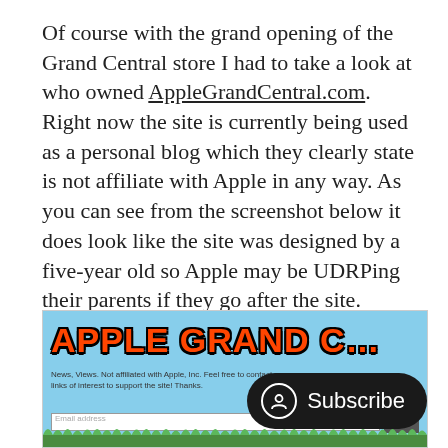Of course with the grand opening of the Grand Central store I had to take a look at who owned AppleGrandCentral.com. Right now the site is currently being used as a personal blog which they clearly state is not affiliate with Apple in any way. As you can see from the screenshot below it does look like the site was designed by a five-year old so Apple may be UDRPing their parents if they go after the site.
[Figure (screenshot): Screenshot of AppleGrandCentral.com website showing the logo text 'APPLE GRAND C...' in orange flame-style font on a light blue background, with subtitle text 'News, Views. Not affiliated with Apple, Inc. Feel free to contact... links of interest to support the site! Thanks.' and an email subscription input field with a Submit button. Grass illustration at the bottom. A Subscribe button overlay is visible in the bottom right.]